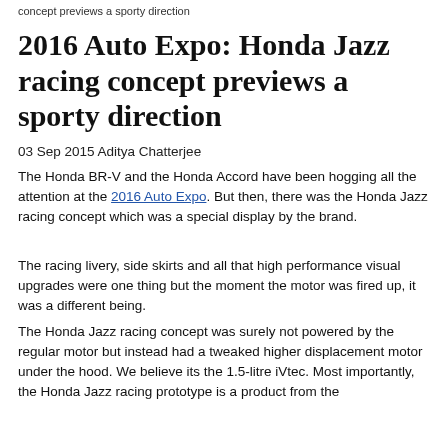concept previews a sporty direction
2016 Auto Expo: Honda Jazz racing concept previews a sporty direction
03 Sep 2015 Aditya Chatterjee
The Honda BR-V and the Honda Accord have been hogging all the attention at the 2016 Auto Expo. But then, there was the Honda Jazz racing concept which was a special display by the brand.
The racing livery, side skirts and all that high performance visual upgrades were one thing but the moment the motor was fired up, it was a different being.
The Honda Jazz racing concept was surely not powered by the regular motor but instead had a tweaked higher displacement motor under the hood. We believe its the 1.5-litre iVtec. Most importantly, the Honda Jazz racing prototype is a product from the